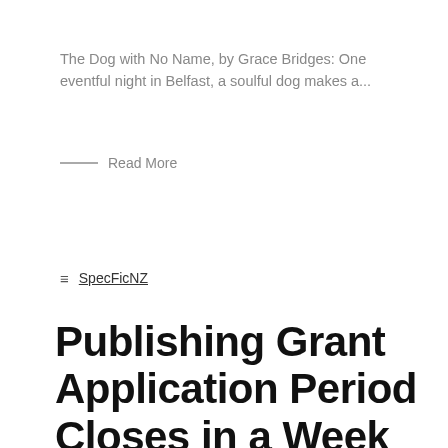The Dog with No Name, by Grace Bridges: One eventful night in Belfast, a soulful dog makes a...
— Read More
≡ SpecFicNZ
Publishing Grant Application Period Closes in a Week